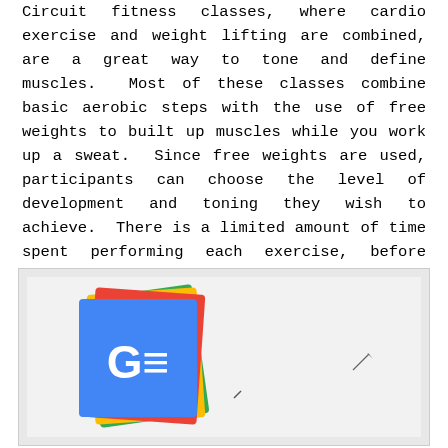Circuit fitness classes, where cardio exercise and weight lifting are combined, are a great way to tone and define muscles. Most of these classes combine basic aerobic steps with the use of free weights to built up muscles while you work up a sweat. Since free weights are used, participants can choose the level of development and toning they wish to achieve. There is a limited amount of time spent performing each exercise, before moving onto the next one, so this a great way of burning lots of calories, and getting fit relatively quickly.
[Figure (logo): Google News logo — coloured card stack with blue card showing G= icon]